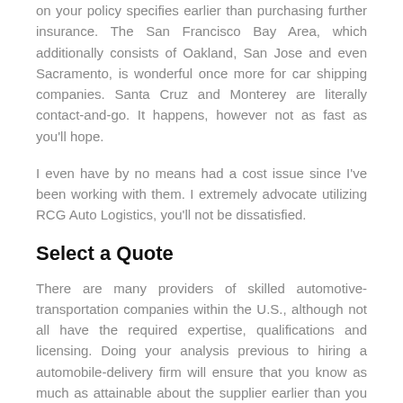on your policy specifies earlier than purchasing further insurance. The San Francisco Bay Area, which additionally consists of Oakland, San Jose and even Sacramento, is wonderful once more for car shipping companies. Santa Cruz and Monterey are literally contact-and-go. It happens, however not as fast as you'll hope.
I even have by no means had a cost issue since I've been working with them. I extremely advocate utilizing RCG Auto Logistics, you'll not be dissatisfied.
Select a Quote
There are many providers of skilled automotive-transportation companies within the U.S., although not all have the required expertise, qualifications and licensing. Doing your analysis previous to hiring a automobile-delivery firm will ensure that you know as much as attainable about the supplier earlier than you rent it to move your precious automotive. damage minimal. The vans normally are geared up with one or